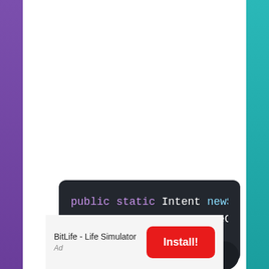[Figure (screenshot): Code snippet on dark background showing Java/Android code: 'public static Intent newSelectPictu...' and 'return Intent.createChooser(Int...' and closing brace '}']
BitLife - Life Simulator
Install!
Ad